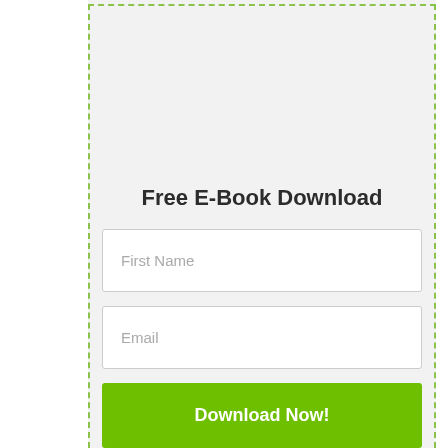Free E-Book Download
First Name
Email
Download Now!